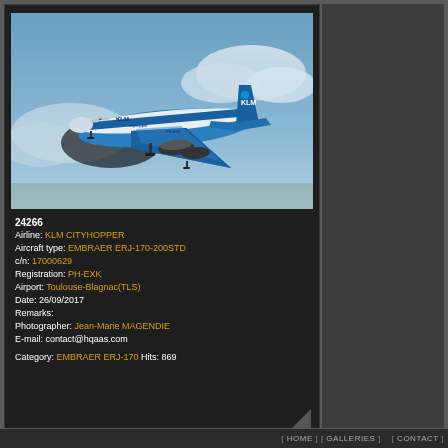[Figure (photo): KLM Cityhopper Embraer ERJ-170-200STD aircraft (registration PH-EXK) in blue KLM livery on approach, photographed at Toulouse-Blagnac airport against a cloudy sky.]
24266
Airline: KLM CITYHOPPER
Aircraft type: EMBRAER ERJ-170-200STD
c/n: 17000629
Registration: PH-EXK
Airport: Toulouse-Blagnac(TLS)
Date: 26/09/2017
Remarks:
Photographer: Jean-Marie MAGENDIE
E-mail: contact@hqaas.com
Category: EMBRAER ERJ-170 Hits: 869
[ HOME ] [ GALLERIES ]  [ CONTACT ]